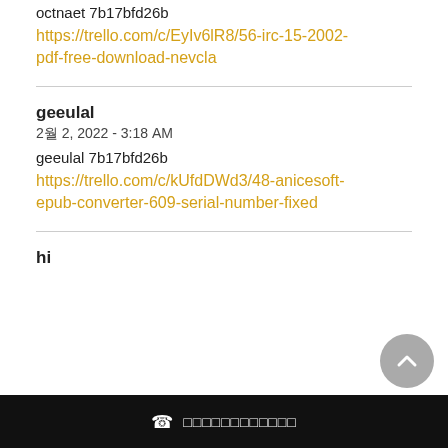octnaet 7b17bfd26b
https://trello.com/c/EyIv6lR8/56-irc-15-2002-pdf-free-download-nevcla
geeulal
2월 2, 2022 - 3:18 AM
geeulal 7b17bfd26b
https://trello.com/c/kUfdDWd3/48-anicesoft-epub-converter-609-serial-number-fixed
📞 □□□□□□□□□□□□